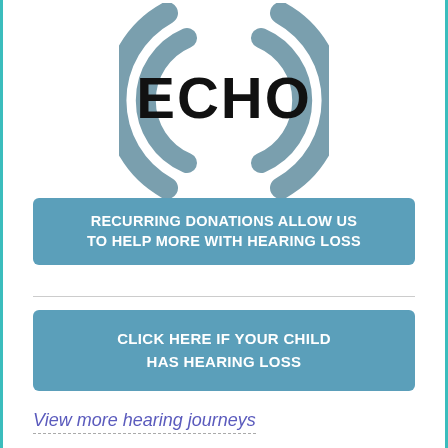[Figure (logo): ECHO logo with concentric arc signal waves in steel blue/grey color, bold black text ECHO in center]
RECURRING DONATIONS ALLOW US TO HELP MORE WITH HEARING LOSS
CLICK HERE IF YOUR CHILD HAS HEARING LOSS
View more hearing journeys